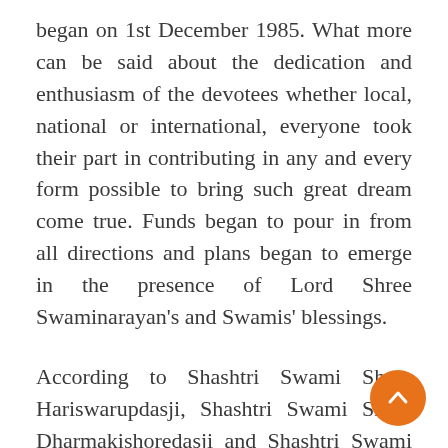began on 1st December 1985. What more can be said about the dedication and enthusiasm of the devotees whether local, national or international, everyone took their part in contributing in any and every form possible to bring such great dream come true. Funds began to pour in from all directions and plans began to emerge in the presence of Lord Shree Swaminarayan's and Swamis' blessings.
According to Shashtri Swami Shree Hariswarupdasji, Shashtri Swami Shree Dharmakishoredasji and Shashtri Swami Shree Morlimanohardasji's expectations, Sinhasan and Murtis were imported from Shree Swaminarayan Temple, Bhuj, India.
Year 1987 was the year when things started happening. A group of saints